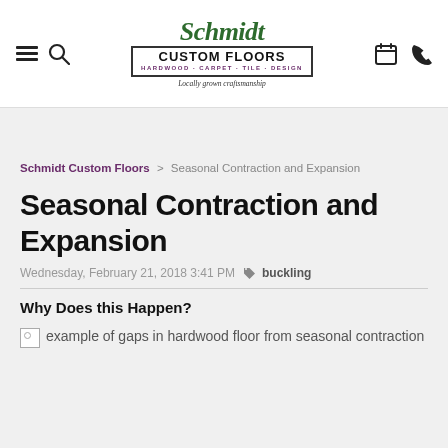[Figure (logo): Schmidt Custom Floors logo with tagline 'Locally grown craftsmanship' and subtitle 'HARDWOOD · CARPET · TILE · DESIGN']
Schmidt Custom Floors > Seasonal Contraction and Expansion
Seasonal Contraction and Expansion
Wednesday, February 21, 2018 3:41 PM  buckling
Why Does this Happen?
[Figure (photo): Broken image placeholder with alt text: example of gaps in hardwood floor from seasonal contraction]